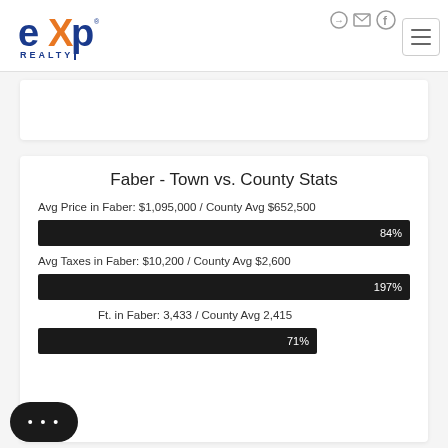[Figure (logo): eXp Realty logo — blue 'exp' text with orange X, 'REALTY' below]
Faber - Town vs. County Stats
Avg Price in Faber: $1,095,000 / County Avg $652,500
[Figure (bar-chart): Avg Price bar]
Avg Taxes in Faber: $10,200 / County Avg $2,600
[Figure (bar-chart): Avg Taxes bar]
Avg Sq Ft. in Faber: 3,433 / County Avg 2,415
[Figure (bar-chart): Avg Sq Ft bar]